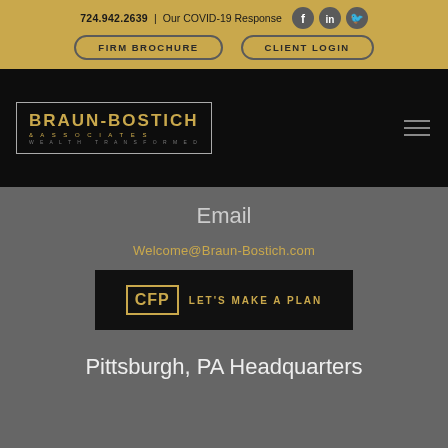724.942.2639 | Our COVID-19 Response
FIRM BROCHURE
CLIENT LOGIN
[Figure (logo): Braun-Bostich & Associates Wealth Transformed logo — gold text on black background with white border box]
Email
Welcome@Braun-Bostich.com
[Figure (logo): CFP Let's Make A Plan banner — gold CFP in bordered box with gold text on black background]
Pittsburgh, PA Headquarters